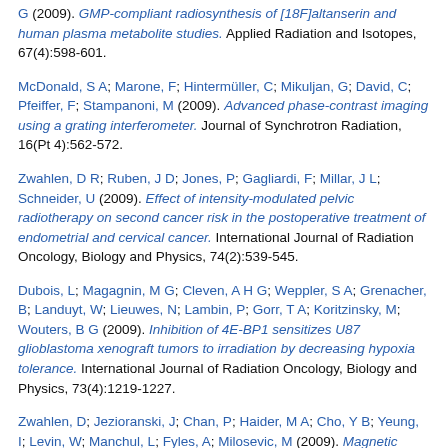G (2009). GMP-compliant radiosynthesis of [18F]altanserin and human plasma metabolite studies. Applied Radiation and Isotopes, 67(4):598-601.
McDonald, S A; Marone, F; Hintermüller, C; Mikuljan, G; David, C; Pfeiffer, F; Stampanoni, M (2009). Advanced phase-contrast imaging using a grating interferometer. Journal of Synchrotron Radiation, 16(Pt 4):562-572.
Zwahlen, D R; Ruben, J D; Jones, P; Gagliardi, F; Millar, J L; Schneider, U (2009). Effect of intensity-modulated pelvic radiotherapy on second cancer risk in the postoperative treatment of endometrial and cervical cancer. International Journal of Radiation Oncology, Biology and Physics, 74(2):539-545.
Dubois, L; Magagnin, M G; Cleven, A H G; Weppler, S A; Grenacher, B; Landuyt, W; Lieuwes, N; Lambin, P; Gorr, T A; Koritzinsky, M; Wouters, B G (2009). Inhibition of 4E-BP1 sensitizes U87 glioblastoma xenograft tumors to irradiation by decreasing hypoxia tolerance. International Journal of Radiation Oncology, Biology and Physics, 73(4):1219-1227.
Zwahlen, D; Jezioranski, J; Chan, P; Haider, M A; Cho, Y B; Yeung, I; Levin, W; Manchul, L; Fyles, A; Milosevic, M (2009). Magnetic resonance imaging-guided intracavitary brachytherapy